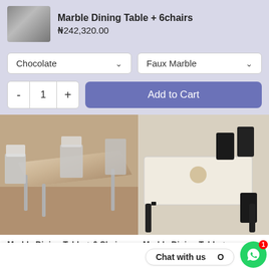Marble Dining Table + 6chairs
₦242,320.00
Chocolate
Faux Marble
- 1 +
Add to Cart
[Figure (photo): Photo of a marble dining table with 6 chairs, chrome/silver frame, light marble top surface]
Marble Dining Table + 6 Chairs
₦375,000.00 NGN
No reviews
[Figure (photo): Partial photo of marble dining table with black chairs]
Marble Dining Table +
Chat with us
[Figure (logo): WhatsApp icon green circle button with badge showing 1]